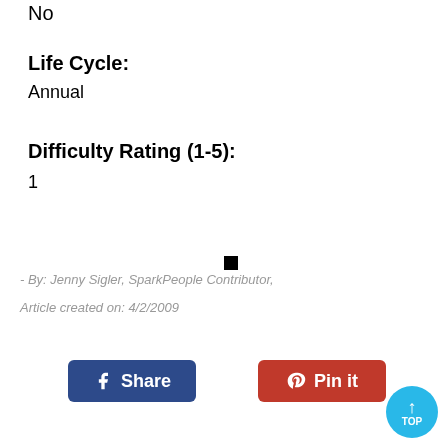No
Life Cycle:
Annual
Difficulty Rating (1-5):
1
- By: Jenny Sigler, SparkPeople Contributor,
Article created on:  4/2/2009